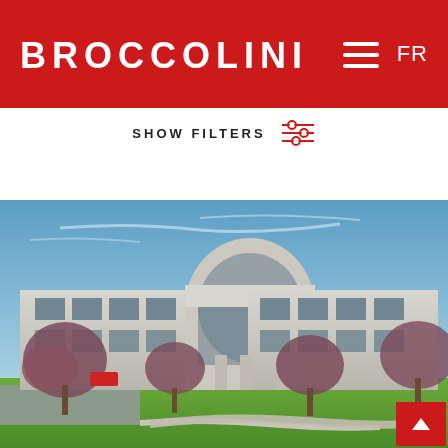BROCCOLINI
SHOW FILTERS
[Figure (photo): Exterior photograph of a two-storey commercial/industrial building with curved glass facade entrance, concrete panel construction, ornamental trees with reddish foliage in foreground, green lawn, blue sky with light clouds]